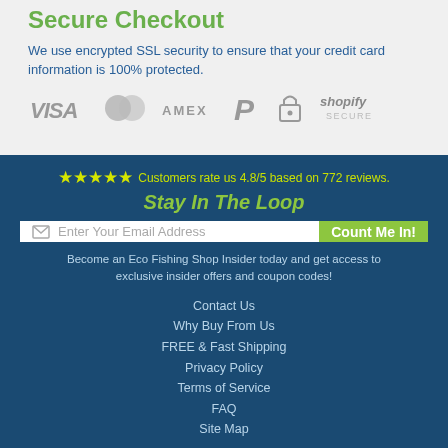Secure Checkout
We use encrypted SSL security to ensure that your credit card information is 100% protected.
[Figure (infographic): Payment method logos: VISA, Mastercard, AMEX, PayPal, lock icon, Shopify Secure]
★★★★★ Customers rate us 4.8/5 based on 772 reviews.
Stay In The Loop
Enter Your Email Address
Count Me In!
Become an Eco Fishing Shop Insider today and get access to exclusive insider offers and coupon codes!
Contact Us
Why Buy From Us
FREE & Fast Shipping
Privacy Policy
Terms of Service
FAQ
Site Map